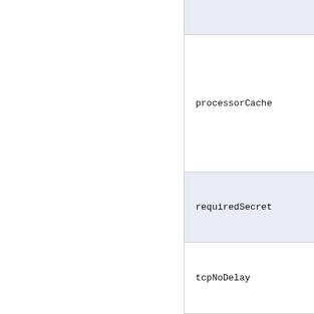|  |  |
|  | processorCache |
|  | requiredSecret |
|  | tcpNoDelay |
|  |  |